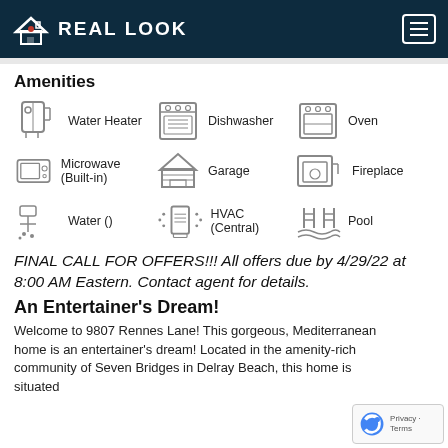REAL LOOK
Amenities
[Figure (infographic): Grid of home amenity icons with labels: Water Heater, Dishwasher, Oven, Microwave (Built-in), Garage, Fireplace, Water (), HVAC (Central), Pool]
FINAL CALL FOR OFFERS!!! All offers due by 4/29/22 at 8:00 AM Eastern. Contact agent for details.
An Entertainer's Dream!
Welcome to 9807 Rennes Lane! This gorgeous, Mediterranean home is an entertainer's dream! Located in the amenity-rich community of Seven Bridges in Delray Beach, this home is situated